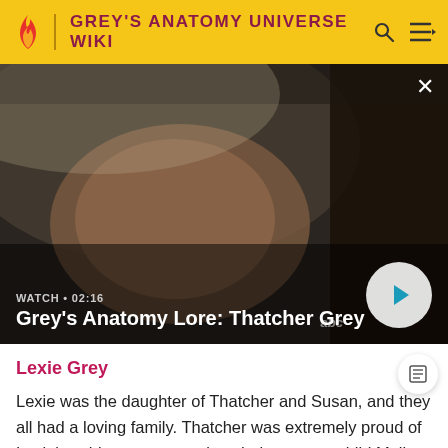GREY'S ANATOMY UNIVERSE WIKI
[Figure (screenshot): Video thumbnail showing a man lying in a hospital bed with eyes closed, from Grey's Anatomy. Overlay text reads 'WATCH • 02:16' and 'Grey's Anatomy Lore: Thatcher Grey'. A play button is in the bottom right. An 'abc' watermark and an X close button are visible.]
Lexie Grey
Lexie was the daughter of Thatcher and Susan, and they all had a loving family. Thatcher was extremely proud of Lexie's achievements, and as their younger child Molly